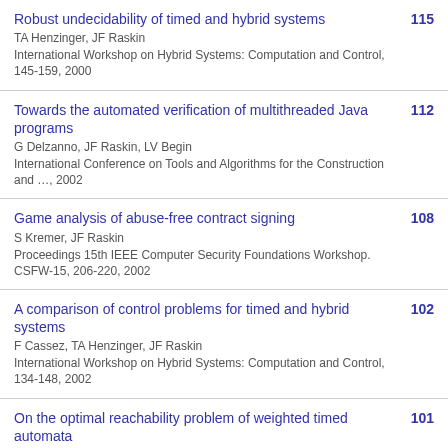Robust undecidability of timed and hybrid systems | TA Henzinger, JF Raskin | International Workshop on Hybrid Systems: Computation and Control, 145-159, 2000 | 115
Towards the automated verification of multithreaded Java programs | G Delzanno, JF Raskin, LV Begin | International Conference on Tools and Algorithms for the Construction and …, 2002 | 112
Game analysis of abuse-free contract signing | S Kremer, JF Raskin | Proceedings 15th IEEE Computer Security Foundations Workshop. CSFW-15, 206-220, 2002 | 108
A comparison of control problems for timed and hybrid systems | F Cassez, TA Henzinger, JF Raskin | International Workshop on Hybrid Systems: Computation and Control, 134-148, 2002 | 102
On the optimal reachability problem of weighted timed automata | 101